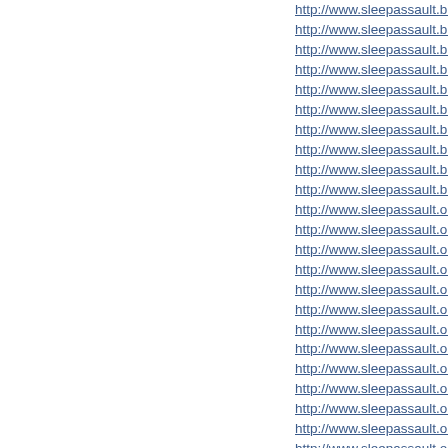http://www.sleepassault.biz/p
http://www.sleepassault.biz/p
http://www.sleepassault.biz/re
http://www.sleepassault.biz/s
http://www.sleepassault.biz/s
http://www.sleepassault.biz/s
http://www.sleepassault.biz/te
http://www.sleepassault.biz/th
http://www.sleepassault.biz/ti
http://www.sleepassault.biz/x
http://www.sleepassault.org/
http://www.sleepassault.org/a
http://www.sleepassault.org/a
http://www.sleepassault.org/b
http://www.sleepassault.org/b
http://www.sleepassault.org/b
http://www.sleepassault.org/b
http://www.sleepassault.org/b
http://www.sleepassault.org/b
http://www.sleepassault.org/b
http://www.sleepassault.org/c
http://www.sleepassault.org/c
http://www.sleepassault.org/f
http://www.sleepassault.org/f